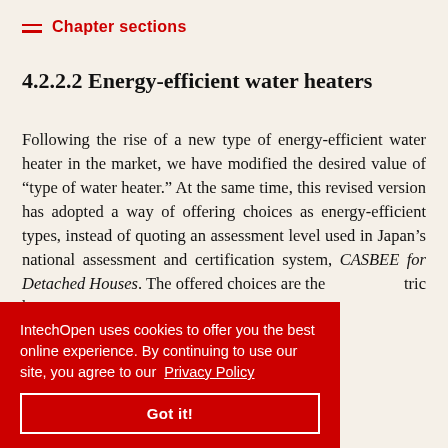Chapter sections
4.2.2.2 Energy-efficient water heaters
Following the rise of a new type of energy-efficient water heater in the market, we have modified the desired value of “type of water heater.” At the same time, this revised version has adopted a way of offering choices as energy-efficient types, instead of quoting an assessment level used in Japan’s national assessment and certification system, CASBEE for Detached Houses. The offered choices are the … tric heat- … ntaneous gas … -heat … , which is … oned new type of energy-efficient water heater [30].
IntechOpen uses cookies to offer you the best online experience. By continuing to use our site, you agree to our Privacy Policy
Got it!